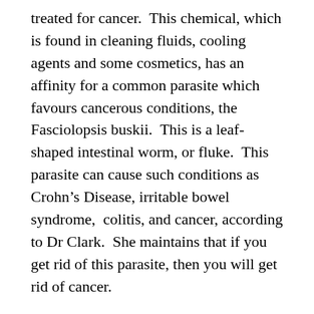treated for cancer.  This chemical, which is found in cleaning fluids, cooling agents and some cosmetics, has an affinity for a common parasite which favours cancerous conditions, the Fasciolopsis buskii.  This is a leaf-shaped intestinal worm, or fluke.  This parasite can cause such conditions as Crohn’s Disease, irritable bowel syndrome,  colitis, and cancer, according to Dr Clark.  She maintains that if you get rid of this parasite, then you will get rid of cancer.
Walter Last had a similar belief: that it was an organism thriving in the intestines which was causing many health problems, including cancer.